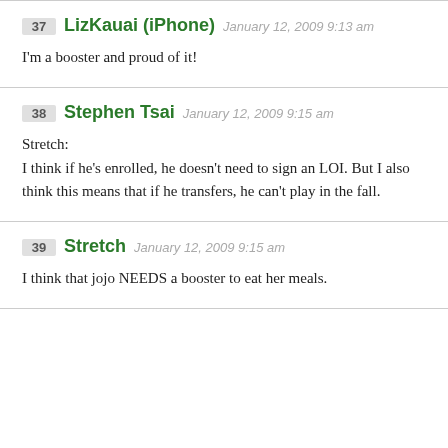37 LizKauai (iPhone) January 12, 2009 9:13 am
I'm a booster and proud of it!
38 Stephen Tsai January 12, 2009 9:15 am
Stretch:
I think if he's enrolled, he doesn't need to sign an LOI. But I also think this means that if he transfers, he can't play in the fall.
39 Stretch January 12, 2009 9:15 am
I think that jojo NEEDS a booster to eat her meals.